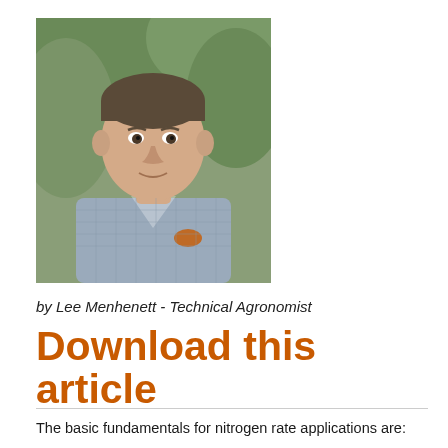[Figure (photo): Headshot of a middle-aged man in a checked shirt, outdoors with green foliage background]
by Lee Menhenett - Technical Agronomist
Download this article
The basic fundamentals for nitrogen rate applications are:
1. Stored soil moisture
2. Crop rotation
3. Organic carbon
4. Seasonal outlook